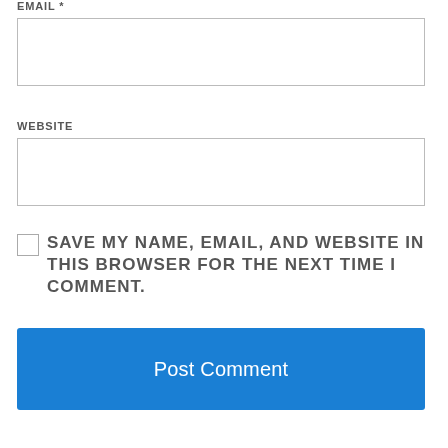EMAIL *
[Figure (other): Empty text input field for EMAIL]
WEBSITE
[Figure (other): Empty text input field for WEBSITE]
SAVE MY NAME, EMAIL, AND WEBSITE IN THIS BROWSER FOR THE NEXT TIME I COMMENT.
[Figure (other): Blue Post Comment submit button]